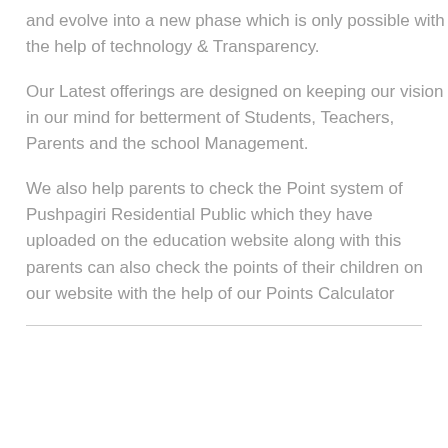and evolve into a new phase which is only possible with the help of technology & Transparency.
Our Latest offerings are designed on keeping our vision in our mind for betterment of Students, Teachers, Parents and the school Management.
We also help parents to check the Point system of Pushpagiri Residential Public which they have uploaded on the education website along with this parents can also check the points of their children on our website with the help of our Points Calculator